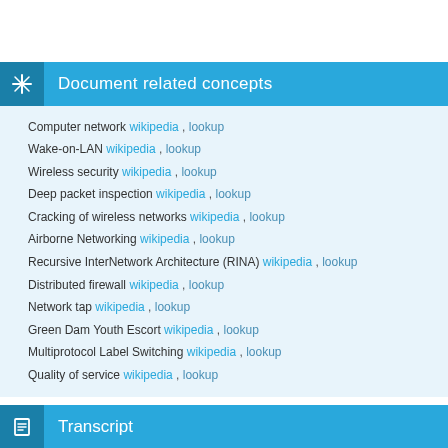Document related concepts
Computer network wikipedia , lookup
Wake-on-LAN wikipedia , lookup
Wireless security wikipedia , lookup
Deep packet inspection wikipedia , lookup
Cracking of wireless networks wikipedia , lookup
Airborne Networking wikipedia , lookup
Recursive InterNetwork Architecture (RINA) wikipedia , lookup
Distributed firewall wikipedia , lookup
Network tap wikipedia , lookup
Green Dam Youth Escort wikipedia , lookup
Multiprotocol Label Switching wikipedia , lookup
Quality of service wikipedia , lookup
Transcript